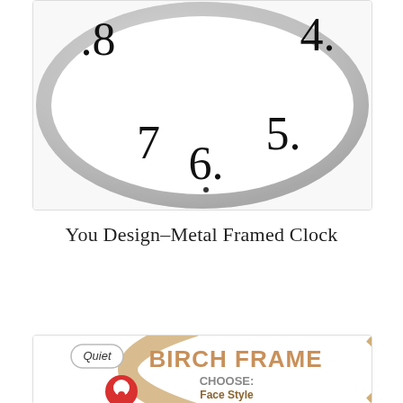[Figure (photo): Close-up of a metal framed clock face showing numbers 6, 7, 4, 5 with silver metal bezel, white face]
You Design–Metal Framed Clock
Select options
[Figure (photo): Birch frame clock image with text: BIRCH FRAME, CHOOSE: Face Style, Face Color. Has a 'Quiet' label badge and a red chat icon in lower left.]